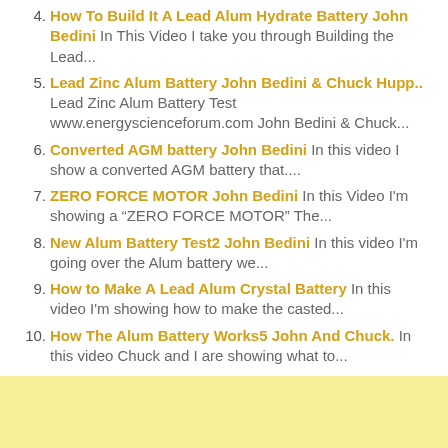4. How To Build It A Lead Alum Hydrate Battery John Bedini In This Video I take you through Building the Lead...
5. Lead Zinc Alum Battery John Bedini & Chuck Hupp.. Lead Zinc Alum Battery Test www.energyscienceforum.com John Bedini & Chuck...
6. Converted AGM battery John Bedini In this video I show a converted AGM battery that....
7. ZERO FORCE MOTOR John Bedini In this Video I'm showing a “ZERO FORCE MOTOR” The...
8. New Alum Battery Test2 John Bedini In this video I'm going over the Alum battery we...
9. How to Make A Lead Alum Crystal Battery In this video I'm showing how to make the casted...
10. How The Alum Battery Works5 John And Chuck. In this video Chuck and I are showing what to...
[Figure (other): Yellow/light green-yellow rectangular area at the bottom of the page]